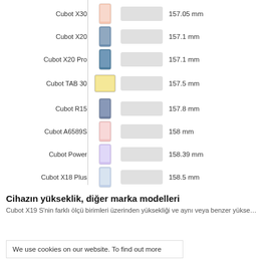[Figure (bar-chart): Cubot device height comparison]
Cihazın yükseklik, diğer marka modelleri
Cubot X19 S'nin farklı ölçü birimleri üzerinden yüksekliği ve aynı veya benzer yüksekl...
We use cookies on our website. To find out more